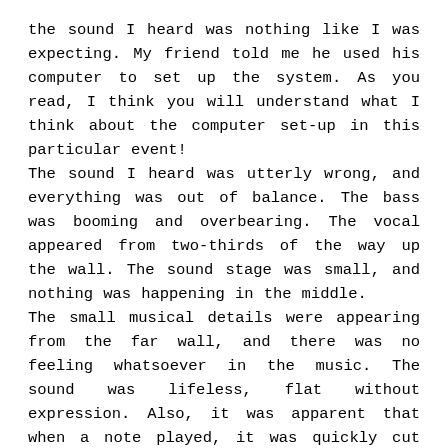the sound I heard was nothing like I was expecting. My friend told me he used his computer to set up the system. As you read, I think you will understand what I think about the computer set-up in this particular event! The sound I heard was utterly wrong, and everything was out of balance. The bass was booming and overbearing. The vocal appeared from two-thirds of the way up the wall. The sound stage was small, and nothing was happening in the middle. The small musical details were appearing from the far wall, and there was no feeling whatsoever in the music. The sound was lifeless, flat without expression. Also, it was apparent that when a note played, it was quickly cut off. After the CD had finished, a Rod Steward LP put on the turntable. When I heard the sound, I said: “Rod, what has happened to you?” The picture above shows the initial